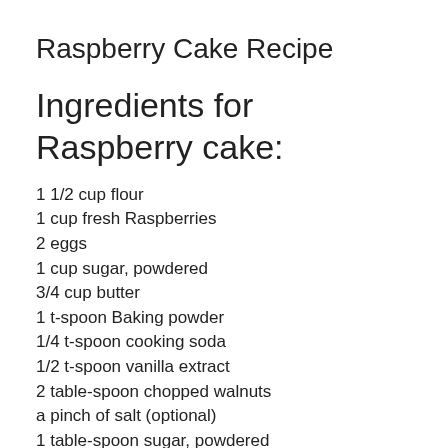Raspberry Cake Recipe
Ingredients for Raspberry cake:
1 1/2 cup flour
1 cup fresh Raspberries
2 eggs
1 cup sugar, powdered
3/4 cup butter
1 t-spoon Baking powder
1/4 t-spoon cooking soda
1/2 t-spoon vanilla extract
2 table-spoon chopped walnuts
a pinch of salt (optional)
1 table-spoon sugar, powdered